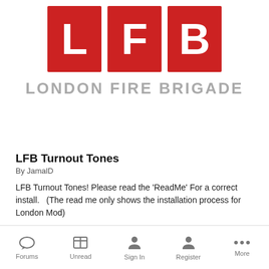[Figure (logo): London Fire Brigade (LFB) logo with three red squares containing white letters L, F, B and text 'LONDON FIRE BRIGADE' below]
LFB Turnout Tones
By JamalD
LFB Turnout Tones! Please read the 'ReadMe' For a correct install.   (The read me only shows the installation process for London Mod)
...
1,575 downloads
Updated October 20, 2016
Forums   Unread   Sign In   Register   More